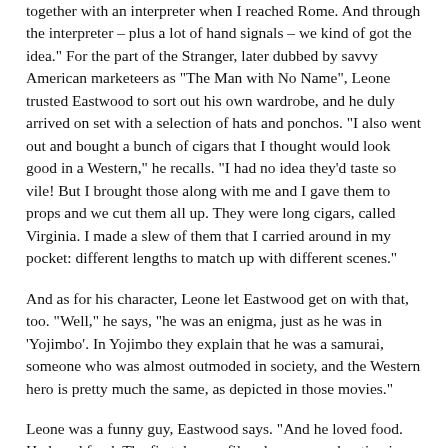together with an interpreter when I reached Rome. And through the interpreter – plus a lot of hand signals – we kind of got the idea." For the part of the Stranger, later dubbed by savvy American marketeers as "The Man with No Name", Leone trusted Eastwood to sort out his own wardrobe, and he duly arrived on set with a selection of hats and ponchos. "I also went out and bought a bunch of cigars that I thought would look good in a Western," he recalls. "I had no idea they'd taste so vile! But I brought those along with me and I gave them to props and we cut them all up. They were long cigars, called Virginia. I made a slew of them that I carried around in my pocket: different lengths to match up with different scenes."
And as for his character, Leone let Eastwood get on with that, too. "Well," he says, "he was an enigma, just as he was in 'Yojimbo'. In Yojimbo they explain that he was a samurai, someone who was almost outmoded in society, and the Western hero is pretty much the same, as depicted in those movies."
Leone was a funny guy, Eastwood says. "And he loved food. He loved food. The first day we filmed, we were shooting in a